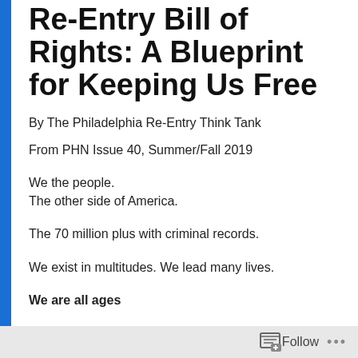Re-Entry Bill of Rights: A Blueprint for Keeping Us Free
By The Philadelphia Re-Entry Think Tank
From PHN Issue 40, Summer/Fall 2019
We the people.
The other side of America.
The 70 million plus with criminal records.
We exist in multitudes. We lead many lives.
We are all ages
Follow ...